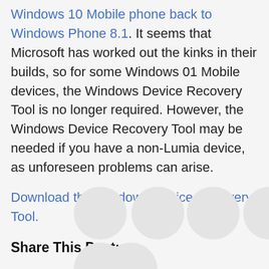Windows 10 Mobile phone back to Windows Phone 8.1. It seems that Microsoft has worked out the kinks in their builds, so for some Windows 01 Mobile devices, the Windows Device Recovery Tool is no longer required. However, the Windows Device Recovery Tool may be needed if you have a non-Lumia device, as unforeseen problems can arise.
Download the Windows Device Recovery Tool.
Share This Post:
[Figure (illustration): Four circular social share button icons in a row, partially visible, light gray circles]